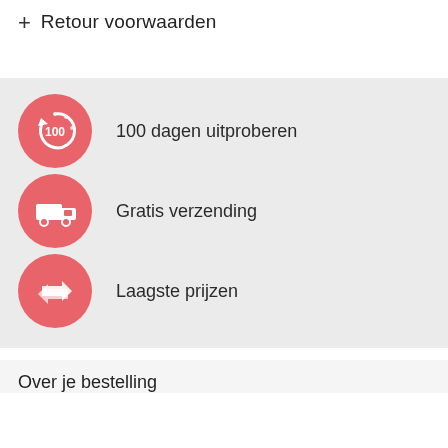+ Retour voorwaarden
[Figure (illustration): Red circle icon with '100' and circular arrows representing 100-day return policy]
100 dagen uitproberen
[Figure (illustration): Red circle icon with delivery truck representing free shipping]
Gratis verzending
[Figure (illustration): Red circle icon with two arrows (exchange) representing lowest prices]
Laagste prijzen
Over je bestelling